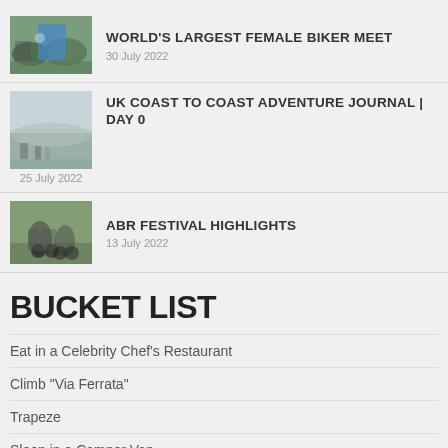[Figure (photo): Thumbnail photo of bikers at a female biker meet event with an inflatable arch]
WORLD'S LARGEST FEMALE BIKER MEET
30 July 2022
[Figure (photo): Thumbnail photo of coastal landscape, people near water]
UK COAST TO COAST ADVENTURE JOURNAL | Day 0
25 July 2022
[Figure (photo): Thumbnail photo of motorcycles and riders at the ABR Festival]
ABR FESTIVAL HIGHLIGHTS
13 July 2022
BUCKET LIST
Eat in a Celebrity Chef's Restaurant
Climb "Via Ferrata"
Trapeze
Sleep in a Camper Van
Wild Swimming